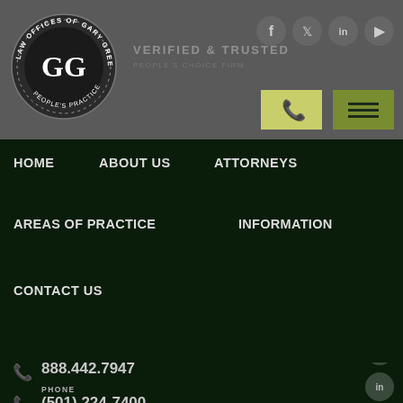[Figure (logo): Law Offices of Gary Green P.A. circular seal logo with GG monogram]
VERIFIED & TRUSTED
HOME  ABOUT US  ATTORNEYS  AREAS OF PRACTICE  INFORMATION  BLOG  CONTACT US
1001 La Harpe Boulevard Little Rock, Arkansas 72201
TOLL FREE
888.442.7947
PHONE
(501) 224-7400